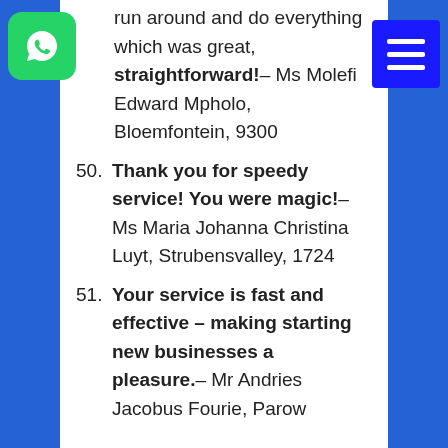[Figure (logo): WhatsApp green rounded square logo icon]
[Figure (other): Blue menu/hamburger button with three white horizontal bars]
(continuation) run around and do everything which was great, straightforward! – Ms Molefi Edward Mpholo, Bloemfontein, 9300
50. Thank you for speedy service! You were magic! – Ms Maria Johanna Christina Luyt, Strubensvalley, 1724
51. Your service is fast and effective – making starting new businesses a pleasure. – Mr Andries Jacobus Fourie, Parow...